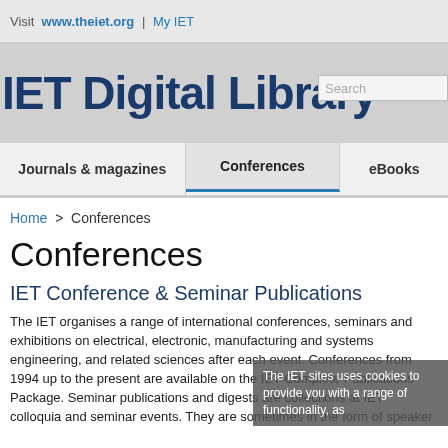Visit www.theiet.org | My IET
IET Digital Library
Journals & magazines   Conferences   eBooks
Home > Conferences
Conferences
IET Conference & Seminar Publications
The IET organises a range of international conferences, seminars and exhibitions on electrical, electronic, manufacturing and systems engineering, and related sciences after each event. Conferences from 1994 up to the present are available on the IET Complete Publications Package. Seminar publications and digests are collections at IET colloquia and seminar events. They are sometimes in the form of speaker